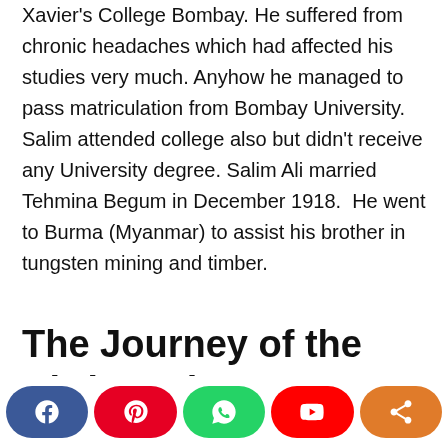Xavier's College Bombay. He suffered from chronic headaches which had affected his studies very much. Anyhow he managed to pass matriculation from Bombay University. Salim attended college also but didn't receive any University degree. Salim Ali married Tehmina Begum in December 1918.  He went to Burma (Myanmar) to assist his brother in tungsten mining and timber.
The Journey of the Birdman in Ornithology
[Figure (infographic): Social media sharing buttons: Facebook (blue), Pinterest (red), WhatsApp (green), YouTube (red), Share (orange), with partial label text below each button]